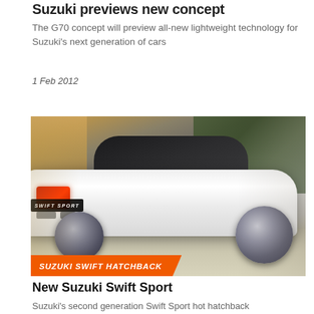Suzuki previews new concept
The G70 concept will preview all-new lightweight technology for Suzuki's next generation of cars
1 Feb 2012
[Figure (photo): White Suzuki Swift Sport hatchback photographed from rear-three-quarter angle in motion, with orange label overlay reading 'SUZUKI SWIFT HATCHBACK']
New Suzuki Swift Sport
Suzuki's second generation Swift Sport hot hatchback